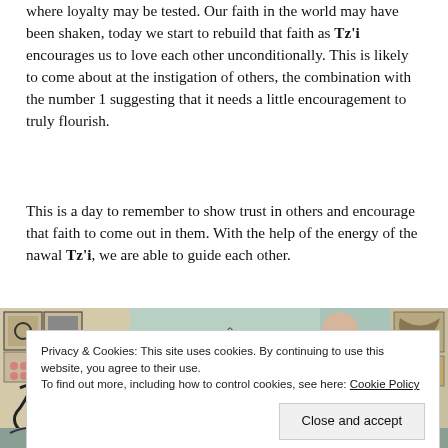where loyalty may be tested. Our faith in the world may have been shaken, today we start to rebuild that faith as Tz'i encourages us to love each other unconditionally. This is likely to come about at the instigation of others, the combination with the number 1 suggesting that it needs a little encouragement to truly flourish.
This is a day to remember to show trust in others and encourage that faith to come out in them. With the help of the energy of the nawal Tz'i, we are able to guide each other.
[Figure (photo): A colorful ancient Mesoamerican codex or manuscript image showing figures with glyphs, symbols, and decorative elements in blue-green, pink, black and cream tones.]
Privacy & Cookies: This site uses cookies. By continuing to use this website, you agree to their use.
To find out more, including how to control cookies, see here: Cookie Policy
[Close and accept]